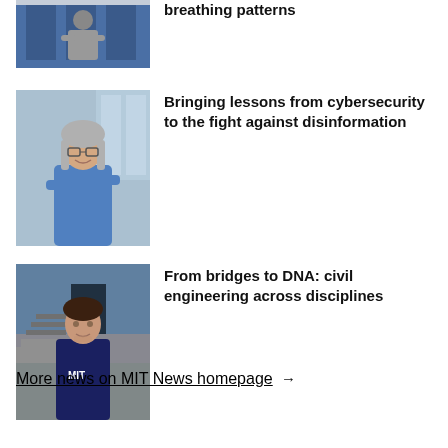[Figure (photo): Partial image of a person, cropped at top of page, related to breathing patterns article]
breathing patterns
[Figure (photo): Woman with glasses and blue shirt standing in a hallway with arms crossed, smiling]
Bringing lessons from cybersecurity to the fight against disinformation
[Figure (photo): Young man standing outside in front of stairs wearing a navy MIT t-shirt]
From bridges to DNA: civil engineering across disciplines
More news on MIT News homepage →